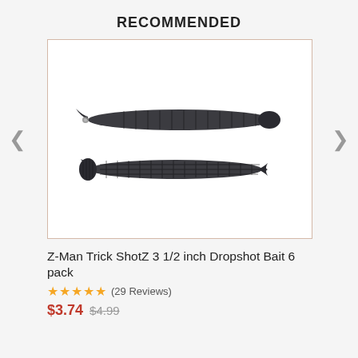RECOMMENDED
[Figure (photo): Two dark-colored Z-Man Trick ShotZ 3 1/2 inch dropshot fishing bait lures shown side by side on a white background. The top lure is displayed with the flat side up and the bottom lure shows the ribbed/textured underside.]
Z-Man Trick ShotZ 3 1/2 inch Dropshot Bait 6 pack
★★★★★ (29 Reviews)
$3.74 $4.99